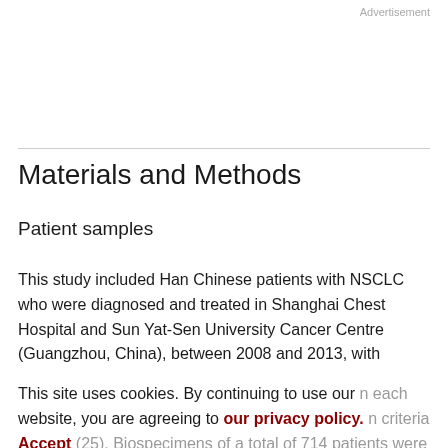Advertisement
Materials and Methods
Patient samples
This study included Han Chinese patients with NSCLC who were diagnosed and treated in Shanghai Chest Hospital and Sun Yat-Sen University Cancer Centre (Guangzhou, China), between 2008 and 2013, with written informed consent from all patients obtained. Patients were
This site uses cookies. By continuing to use our website, you are agreeing to our privacy policy. Accept
(25). Biospecimens of a total of 714 patients were